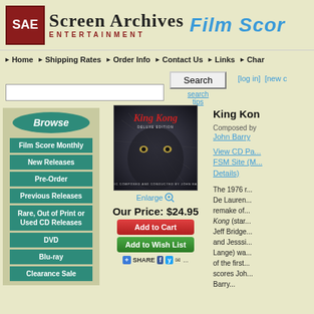[Figure (logo): Screen Archives Entertainment logo with SAE red box and Film Score Monthly text]
Home | Shipping Rates | Order Info | Contact Us | Links | Char...
Search | search tips | [log in] [new ...
[Figure (photo): King Kong Deluxe Edition album cover - dark atmospheric image with King Kong title in red]
Enlarge
Our Price: $24.95
Add to Cart
Add to Wish List
SHARE
Browse
Film Score Monthly
New Releases
Pre-Order
Previous Releases
Rare, Out of Print or Used CD Releases
DVD
Blu-ray
Clearance Sale
King Kon...
Composed by
John Barry
View CD Pa...
FSM Site (M...
Details)
The 1976 r... De Lauren... remake of... Kong (star... Jeff Bridge... and Jesssi... Lange) wa... of the first... scores Joh... Barry...